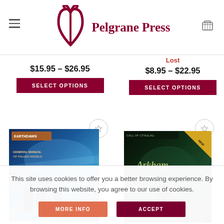Pelgrane Press
$15.95 – $26.95
Lost
$8.95 – $22.95
[Figure (screenshot): Left book cover with fantasy art featuring figures in a blue stormy scene, Earthdawn branding]
[Figure (screenshot): Right book cover for Arkham Detective Tales with dark green atmospheric noir art]
This site uses cookies to offer you a better browsing experience. By browsing this website, you agree to our use of cookies.